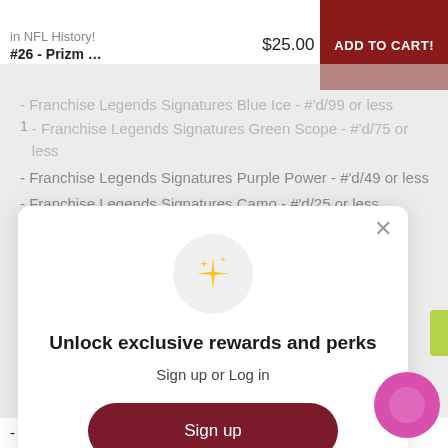in NFL History!
#26 - Prizm …   $25.00   ADD TO CART!
- Franchise Legends Signatures Blue Ice - #'d/99 or less
- Franchise Legends Signatures Green Scope - #'d/75 or less
- Franchise Legends Signatures Purple Power - #'d/49 or less
- Franchise Legends Signatures Camo - #'d/25 or less
[Figure (screenshot): Pop-up modal with sparkle icon, title 'Unlock exclusive rewards and perks', subtitle 'Sign up or Log in', a dark red 'Sign up' button, and 'Already have an account? Sign in' text with close X button.]
- Rookie Autographs Prizm Gold - #'d/10 or less